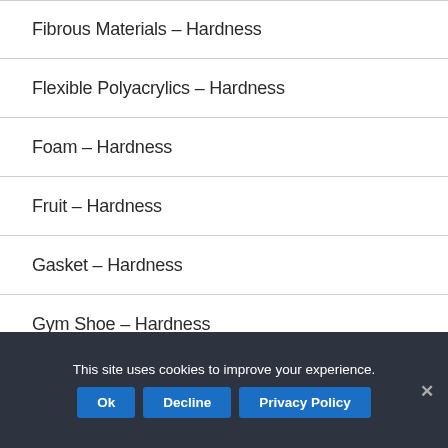Fibrous Materials – Hardness
Flexible Polyacrylics – Hardness
Foam – Hardness
Fruit – Hardness
Gasket – Hardness
Gym Shoe – Hardness
This site uses cookies to improve your experience.
Ok | Decline | Privacy Policy